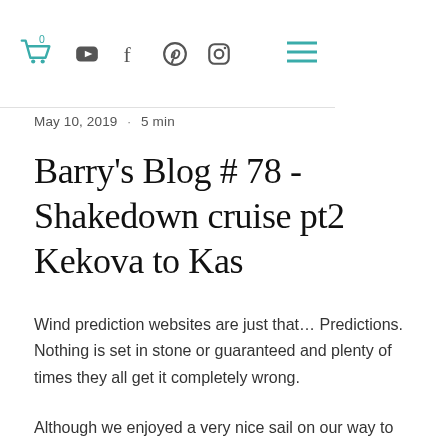Navigation bar with cart, YouTube, Facebook, Pinterest, Instagram icons and hamburger menu
May 10, 2019  ·  5 min
Barry's Blog # 78 - Shakedown cruise pt2 Kekova to Kas
Wind prediction websites are just that… Predictions. Nothing is set in stone or guaranteed and plenty of times they all get it completely wrong.
Although we enjoyed a very nice sail on our way to Kekova Roads with the arrival of the predicted 15 knots of wind, the